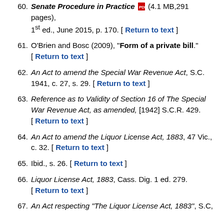60. Senate Procedure in Practice (4.1 MB,291 pages), 1st ed., June 2015, p. 170. [ Return to text ]
61. O'Brien and Bosc (2009), "Form of a private bill." [ Return to text ]
62. An Act to amend the Special War Revenue Act, S.C. 1941, c. 27, s. 29. [ Return to text ]
63. Reference as to Validity of Section 16 of The Special War Revenue Act, as amended, [1942] S.C.R. 429. [ Return to text ]
64. An Act to amend the Liquor License Act, 1883, 47 Vic., c. 32. [ Return to text ]
65. Ibid., s. 26. [ Return to text ]
66. Liquor License Act, 1883, Cass. Dig. 1 ed. 279. [ Return to text ]
67. An Act respecting "The Liquor License Act, 1883", S.C,